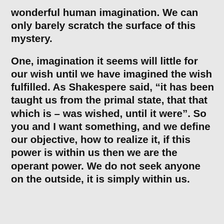wonderful human imagination. We can only barely scratch the surface of this mystery.
One, imagination it seems will little for our wish until we have imagined the wish fulfilled. As Shakespere said, “it has been taught us from the primal state, that that which is – was wished, until it were”. So you and I want something, and we define our objective, how to realize it, if this power is within us then we are the operant power. We do not seek anyone on the outside, it is simply within us.